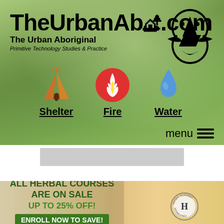[Figure (screenshot): TheUrbanAbo (TheUrbanAboriginal.com) website header with forest background, logo, navigation icons for Shelter, Fire, Water, and menu button]
[Figure (screenshot): Herbal Academy advertisement banner: ALL HERBAL COURSES ARE ON SALE UP TO 25% OFF! ENROLL NOW TO SAVE! with herbal academy seal logo]